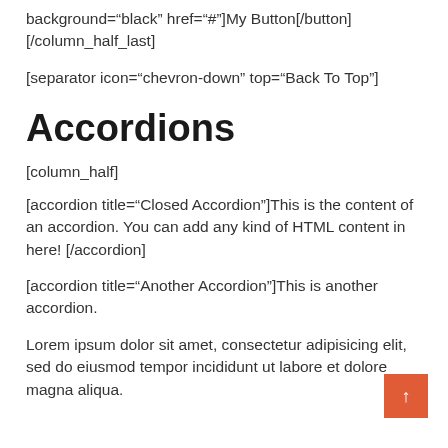background="black" href="#"]My Button[/button] [/column_half_last]
[separator icon="chevron-down" top="Back To Top"]
Accordions
[column_half]
[accordion title="Closed Accordion"]This is the content of an accordion. You can add any kind of HTML content in here! [/accordion]
[accordion title="Another Accordion"]This is another accordion.
Lorem ipsum dolor sit amet, consectetur adipisicing elit, sed do eiusmod tempor incididunt ut labore et dolore magna aliqua.